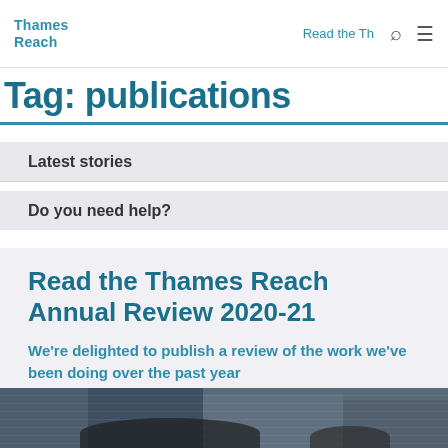Thames Reach | Read the Th
Tag: publications
Latest stories
Do you need help?
Read the Thames Reach Annual Review 2020-21
We're delighted to publish a review of the work we've been doing over the past year
[Figure (photo): Street scene with modern glass office buildings in London; two people visible in foreground from behind]